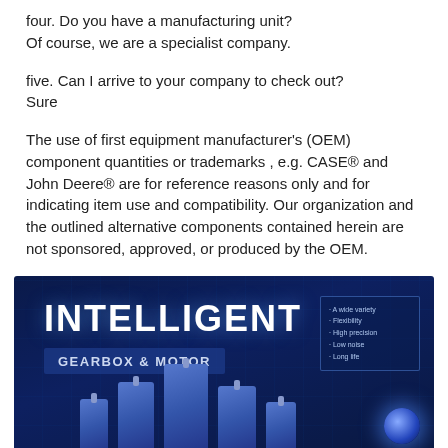four. Do you have a manufacturing unit?
Of course, we are a specialist company.
five. Can I arrive to your company to check out?
Sure
The use of first equipment manufacturer's (OEM) component quantities or trademarks , e.g. CASE® and John Deere® are for reference reasons only and for indicating item use and compatibility. Our organization and the outlined alternative components contained herein are not sponsored, approved, or produced by the OEM.
[Figure (photo): Dark blue promotional banner for Intelligent Gearbox & Motor with images of blue gearbox and motor units, bullet list of features: A wide variety, Flexibility, High precision, Low noise, Long life]